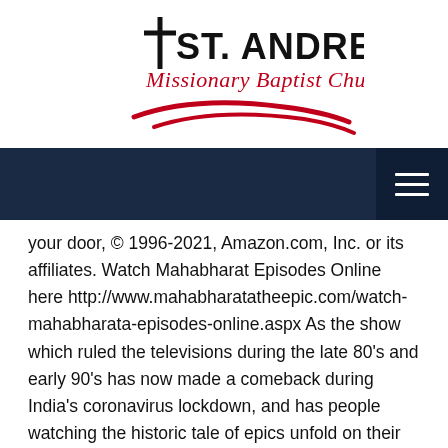[Figure (logo): St. Andrew Missionary Baptist Church logo with cross symbol, italic red script subtitle and red swoosh/arc design beneath]
[Figure (other): Dark navy navigation bar with hamburger menu icon (three white horizontal lines) in darker box on the right]
your door, © 1996-2021, Amazon.com, Inc. or its affiliates. Watch Mahabharat Episodes Online here http://www.mahabharatatheepic.com/watch-mahabharata-episodes-online.aspx As the show which ruled the televisions during the late 80's and early 90's has now made a comeback during India's coronavirus lockdown, and has people watching the historic tale of epics unfold on their television screens. Watch Mahabharat latest & full episodes online on hotstar.com